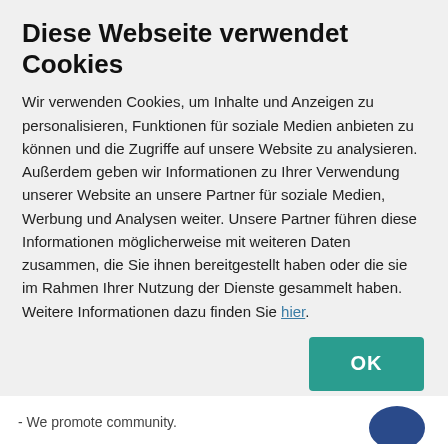Diese Webseite verwendet Cookies
Wir verwenden Cookies, um Inhalte und Anzeigen zu personalisieren, Funktionen für soziale Medien anbieten zu können und die Zugriffe auf unsere Website zu analysieren. Außerdem geben wir Informationen zu Ihrer Verwendung unserer Website an unsere Partner für soziale Medien, Werbung und Analysen weiter. Unsere Partner führen diese Informationen möglicherweise mit weiteren Daten zusammen, die Sie ihnen bereitgestellt haben oder die sie im Rahmen Ihrer Nutzung der Dienste gesammelt haben. Weitere Informationen dazu finden Sie hier.
[Figure (other): OK button - teal/green colored button with white OK label]
| ✓ Notwendig | □ Präferenzen | □ Statistiken | Details zeigen ∨ |
| □ Marketing |  |  |  |
- We promote community.